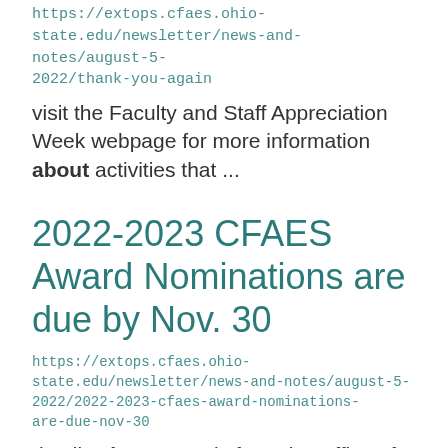https://extops.cfaes.ohio-state.edu/newsletter/news-and-notes/august-5-2022/thank-you-again
visit the Faculty and Staff Appreciation Week webpage for more information about activities that ...
2022-2023 CFAES Award Nominations are due by Nov. 30
https://extops.cfaes.ohio-state.edu/newsletter/news-and-notes/august-5-2022/2022-2023-cfaes-award-nominations-are-due-nov-30
details about awards from the Office of Research and Graduate Education can be found at ...